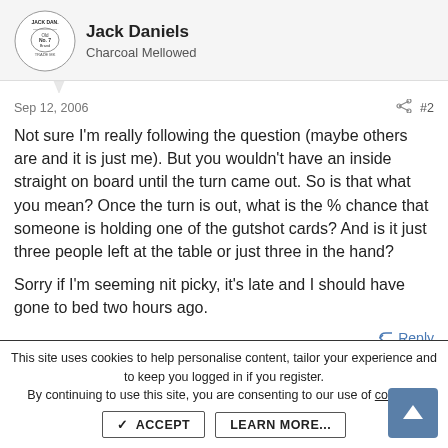Jack Daniels
Charcoal Mellowed
Sep 12, 2006
#2
Not sure I'm really following the question (maybe others are and it is just me). But you wouldn't have an inside straight on board until the turn came out. So is that what you mean? Once the turn is out, what is the % chance that someone is holding one of the gutshot cards? And is it just three people left at the table or just three in the hand?

Sorry if I'm seeming nit picky, it's late and I should have gone to bed two hours ago.
Reply
This site uses cookies to help personalise content, tailor your experience and to keep you logged in if you register.
By continuing to use this site, you are consenting to our use of cookies.
ACCEPT  LEARN MORE...